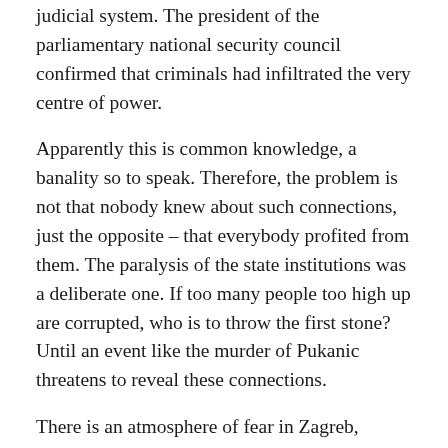judicial system. The president of the parliamentary national security council confirmed that criminals had infiltrated the very centre of power.
Apparently this is common knowledge, a banality so to speak. Therefore, the problem is not that nobody knew about such connections, just the opposite – that everybody profited from them. The paralysis of the state institutions was a deliberate one. If too many people too high up are corrupted, who is to throw the first stone? Until an event like the murder of Pukanic threatens to reveal these connections.
There is an atmosphere of fear in Zagreb, perhaps even a danger of destabilisation. In such a situation yesterday's enemies from the opposition are now offering their support to prime minister Ivo Sanader who is promising a tough fight against crime. A few days after the killing of Pukanic a special anti-mafia squad was formed and 250 policemen